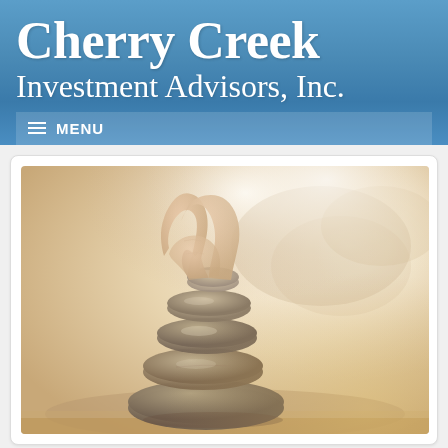Cherry Creek Investment Advisors, Inc.
≡ MENU
[Figure (photo): A hand carefully placing a small stone on top of a balanced stack of smooth zen stones on a sandy surface with soft warm bokeh background]